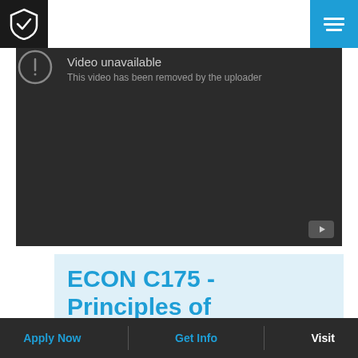[Figure (screenshot): Embedded video player showing 'Video unavailable - This video has been removed by the uploader' message on a dark background with a YouTube icon in the bottom right corner.]
ECON C175 - Principles of
Apply Now   Get Info   Visit